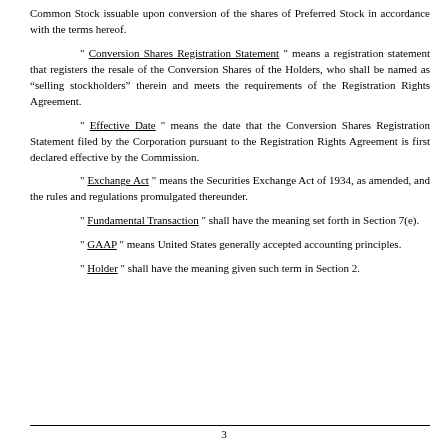Common Stock issuable upon conversion of the shares of Preferred Stock in accordance with the terms hereof.
" Conversion Shares Registration Statement " means a registration statement that registers the resale of the Conversion Shares of the Holders, who shall be named as “selling stockholders” therein and meets the requirements of the Registration Rights Agreement.
" Effective Date " means the date that the Conversion Shares Registration Statement filed by the Corporation pursuant to the Registration Rights Agreement is first declared effective by the Commission.
" Exchange Act " means the Securities Exchange Act of 1934, as amended, and the rules and regulations promulgated thereunder.
" Fundamental Transaction " shall have the meaning set forth in Section 7(e).
" GAAP " means United States generally accepted accounting principles.
" Holder " shall have the meaning given such term in Section 2.
3